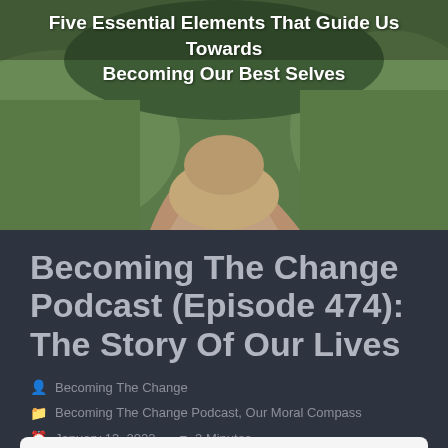[Figure (photo): Outdoor scene with a dirt path and green grass, serving as a hero background image]
Five Essential Elements That Guide Us Towards Becoming Our Best Selves
Becoming The Change Podcast (Episode 474): The Story Of Our Lives
Becoming The Change
Becoming The Change Podcast, Our Moral Compass
January 13, 2022   2 Minutes